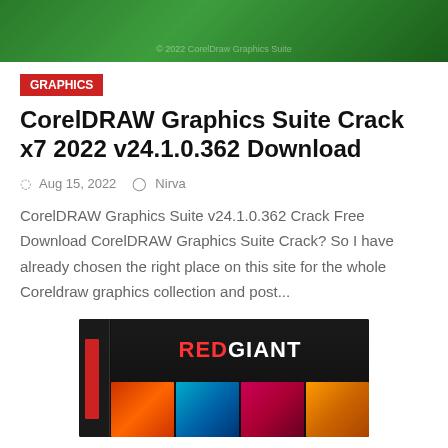[Figure (photo): Green banner header image at the top of the webpage]
GRAPHICS
CorelDRAW Graphics Suite Crack x7 2022 v24.1.0.362 Download
Aug 15, 2022   Nirva
CorelDRAW Graphics Suite v24.1.0.362 Crack Free Download CorelDRAW Graphics Suite Crack? So I have already chosen the right place on this site for the whole Coreldraw graphics collection and post...
[Figure (photo): Red Giant software product box image with colorful imagery strip at the bottom]